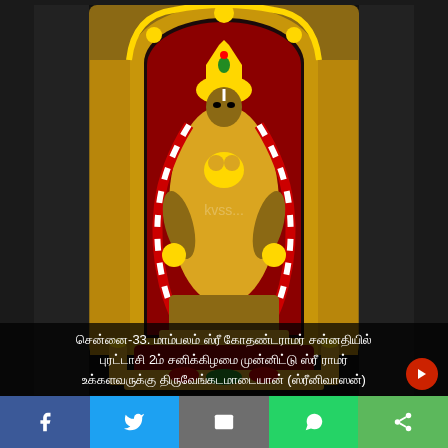[Figure (photo): A Hindu deity idol (Lord Rama / Venkateswara) adorned with elaborate gold ornaments, red and white flower garlands, set within an ornate golden arch with red velvet backdrop, placed on a decorated altar platform.]
சென்னை-33. மாம்பலம் ஸ்ரீ கோதண்டராமர் சன்னதியில் புரட்டாசி 2ம் சனிக்கிழமை முன்னிட்டு ஸ்ரீ ராமர் உக்களவருக்கு திருவேங்கடமாடையான் (ஸ்ரீனிவாஸன்)